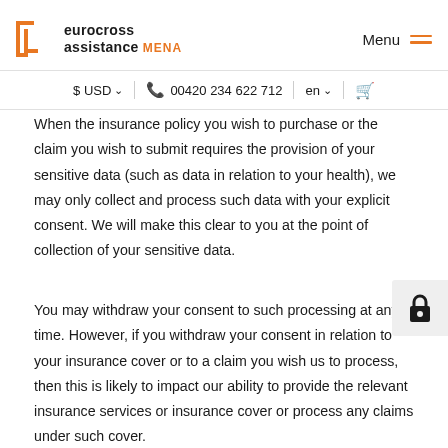eurocross assistance MENA | Menu
$ USD | 00420 234 622 712 | en | cart
When the insurance policy you wish to purchase or the claim you wish to submit requires the provision of your sensitive data (such as data in relation to your health), we may only collect and process such data with your explicit consent. We will make this clear to you at the point of collection of your sensitive data.
You may withdraw your consent to such processing at any time. However, if you withdraw your consent in relation to your insurance cover or to a claim you wish us to process, then this is likely to impact our ability to provide the relevant insurance services or insurance cover or process any claims under such cover.